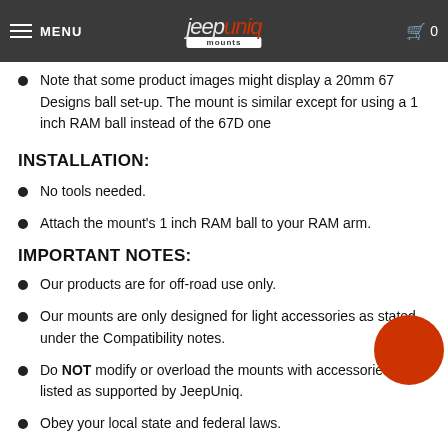MENU | jeepuniq mounts | 0
Note that some product images might display a 20mm 67 Designs ball set-up. The mount is similar except for using a 1 inch RAM ball instead of the 67D one
INSTALLATION:
No tools needed.
Attach the mount's 1 inch RAM ball to your RAM arm.
IMPORTANT NOTES:
Our products are for off-road use only.
Our mounts are only designed for light accessories as stated under the Compatibility notes.
Do NOT modify or overload the mounts with accessories not listed as supported by JeepUniq.
Obey your local state and federal laws.